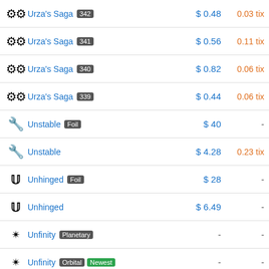| Icon | Set | Price USD | Price TIX |
| --- | --- | --- | --- |
| gear | Urza's Saga 342 | $0.48 | 0.03 tix |
| gear | Urza's Saga 341 | $0.56 | 0.11 tix |
| gear | Urza's Saga 340 | $0.82 | 0.06 tix |
| gear | Urza's Saga 339 | $0.44 | 0.06 tix |
| wrench | Unstable Foil | $40 | - |
| wrench | Unstable | $4.28 | 0.23 tix |
| U | Unhinged Foil | $28 | - |
| U | Unhinged | $6.49 | - |
| star | Unfinity Planetary | - | - |
| star | Unfinity Orbital Newest | - | - |
| bug | Unsanctioned 92 Foil | $3.98 | 0.01 tix |
| bug | Unsanctioned 92 | $2.80 | 0.17 tix |
| bug | Unsanctioned 91 | $0.68 |  |